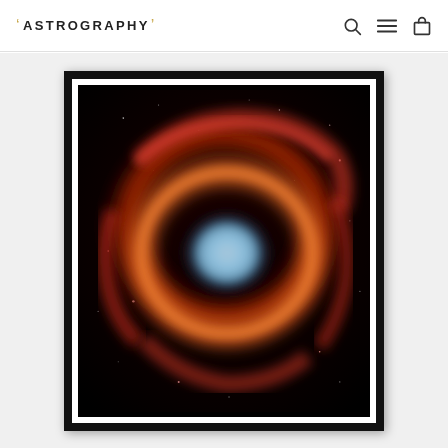ASTROGRAPHY
[Figure (photo): Framed print of the Helix Nebula (NGC 7293), showing a large planetary nebula with a blue central region surrounded by orange and red concentric rings of gas and dust, set against a black starfield background. The image is displayed in a black frame with white matting.]